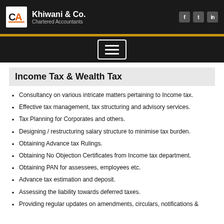Khiwani & Co. Chartered Accountants
[Figure (logo): CA logo and firm name Khiwani & Co. Chartered Accountants with social media icons (f, t, in) on black background]
Income Tax & Wealth Tax
Consultancy on various intricate matters pertaining to Income tax.
Effective tax management, tax structuring and advisory services.
Tax Planning for Corporates and others.
Designing / restructuring salary structure to minimise tax burden.
Obtaining Advance tax Rulings.
Obtaining No Objection Certificates from Income tax department.
Obtaining PAN for assessees, employees etc.
Advance tax estimation and deposit.
Assessing the liability towards deferred taxes.
Providing regular updates on amendments, circulars, notifications &